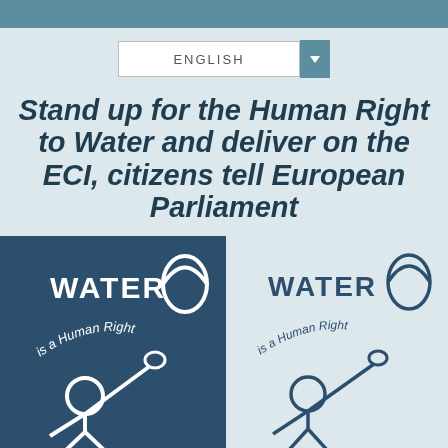ENGLISH
Stand up for the Human Right to Water and deliver on the ECI, citizens tell European Parliament
[Figure (illustration): Two versions of 'Water is a Human Right' logo/poster side by side. Left version has dark blue background with white text and figure. Right version has light background with dark blue text and figure. Both show a stick figure reaching up toward a water droplet with the text 'WATER is a Human Right' arranged in a circle.]